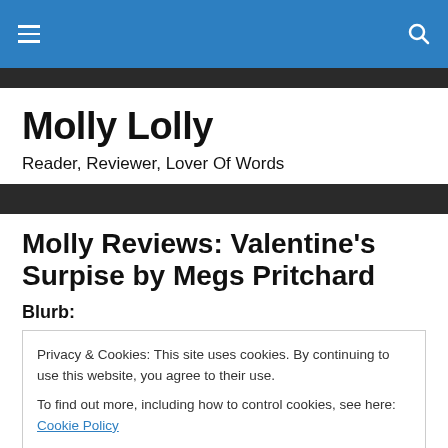Navigation bar with hamburger menu and search icon
Molly Lolly
Reader, Reviewer, Lover Of Words
Molly Reviews: Valentine's Surpise by Megs Pritchard
Blurb:
Privacy & Cookies: This site uses cookies. By continuing to use this website, you agree to their use.
To find out more, including how to control cookies, see here: Cookie Policy
Close and accept
It's the night before Valentine's Day and Issac has a